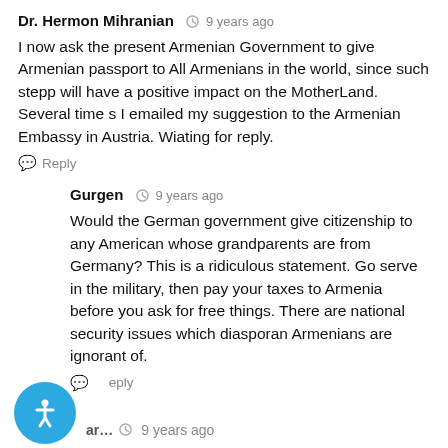Dr. Hermon Mihranian  9 years ago
I now ask the present Armenian Government to give Armenian passport to All Armenians in the world, since such stepp will have a positive impact on the MotherLand. Several time s I emailed my suggestion to the Armenian Embassy in Austria. Wiating for reply.
Reply
Gurgen  9 years ago
Would the German government give citizenship to any American whose grandparents are from Germany? This is a ridiculous statement. Go serve in the military, then pay your taxes to Armenia before you ask for free things. There are national security issues which diasporan Armenians are ignorant of.
Reply
ar...  9 years ago